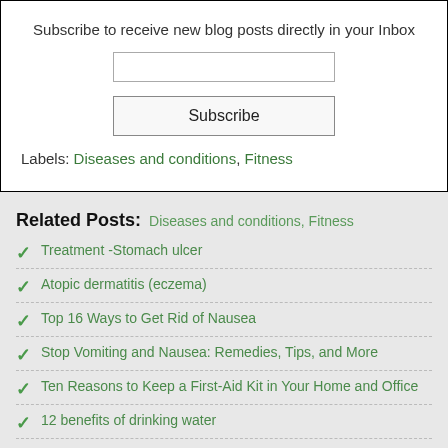Subscribe to receive new blog posts directly in your Inbox
Labels: Diseases and conditions, Fitness
Related Posts: Diseases and conditions, Fitness
Treatment -Stomach ulcer
Atopic dermatitis (eczema)
Top 16 Ways to Get Rid of Nausea
Stop Vomiting and Nausea: Remedies, Tips, and More
Ten Reasons to Keep a First-Aid Kit in Your Home and Office
12 benefits of drinking water